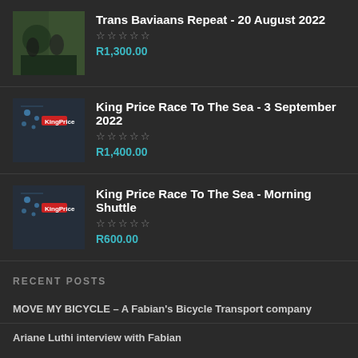Trans Baviaans Repeat - 20 August 2022 | ☆☆☆☆☆ | R1,300.00
King Price Race To The Sea - 3 September 2022 | ☆☆☆☆☆ | R1,400.00
King Price Race To The Sea - Morning Shuttle | ☆☆☆☆☆ | R600.00
RECENT POSTS
MOVE MY BICYCLE – A Fabian's Bicycle Transport company
Ariane Luthi interview with Fabian